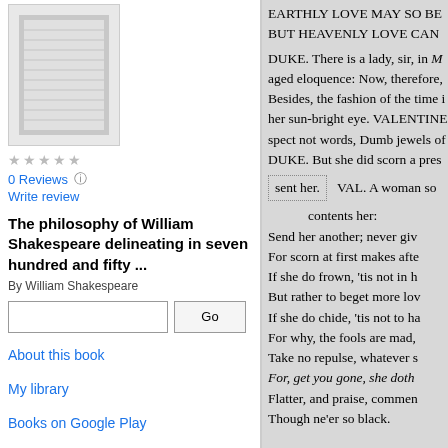[Figure (other): Thumbnail image of book cover/page]
0 Reviews
Write review
The philosophy of William Shakespeare delineating in seven hundred and fifty ...
By William Shakespeare
Go (search button)
About this book
My library
Books on Google Play
Terms of Service
EARTHLY LOVE MAY SO BE
BUT HEAVENLY LOVE CAN
DUKE. There is a lady, sir, in M aged eloquence: Now, therefore, Besides, the fashion of the time i her sun-bright eye. VALENTINE spect not words, Dumb jewels o DUKE. But she did scorn a prese sent her.    VAL. A woman so
contents her:
Send her another; never giv
For scorn at first makes afte
If she do frown, 'tis not in h
But rather to beget more lo
If she do chide, 'tis not to ha
For why, the fools are mad,
Take no repulse, whatever s
For, get you gone, she doth
Flatter, and praise, commen
Though ne'er so black.